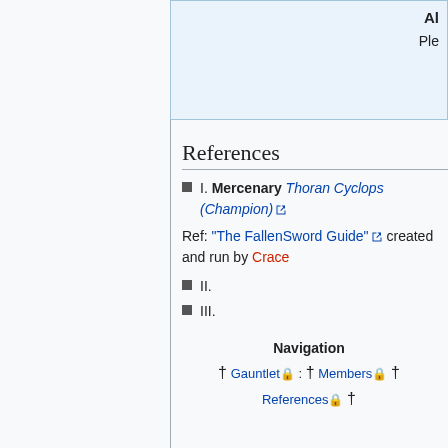Al
Ple
References
I. Mercenary Thoran Cyclops (Champion) [external link]
Ref: "The FallenSword Guide" [external link] created and run by Crace
II.
III.
Navigation
† Gauntlet 🔒 : † Members 🔒 † References 🔒 †